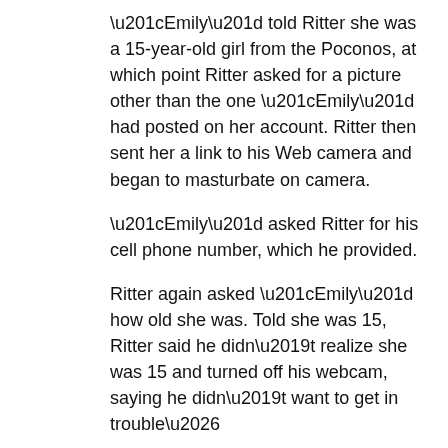“Emily” told Ritter she was a 15-year-old girl from the Poconos, at which point Ritter asked for a picture other than the one “Emily” had posted on her account. Ritter then sent her a link to his Web camera and began to masturbate on camera.
“Emily” asked Ritter for his cell phone number, which he provided.
Ritter again asked “Emily” how old she was. Told she was 15, Ritter said he didn’t realize she was 15 and turned off his webcam, saying he didn’t want to get in trouble…
What a guy…
Now some links: